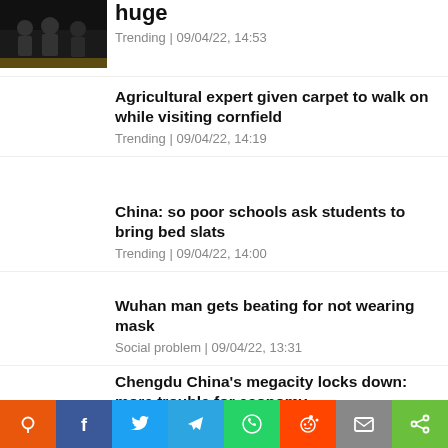[Figure (photo): Partial thumbnail image of people, dark background, top-left corner]
huge
Trending | 09/04/22, 14:53
Agricultural expert given carpet to walk on while visiting cornfield
Trending | 09/04/22, 14:19
China: so poor schools ask students to bring bed slats
Trending | 09/04/22, 14:00
Wuhan man gets beating for not wearing mask
Social problem | 09/04/22, 13:31
Chengdu China's megacity locks down: more trouble for economy
Trending | 09/04/22, 13:5…
[Figure (infographic): Social sharing toolbar with Pinterest, Facebook, Twitter, Telegram, WhatsApp, Reddit, Email, Share buttons]